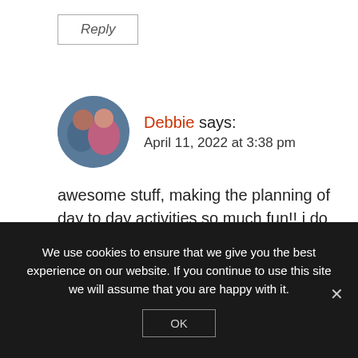Reply
Debbie says:
April 11, 2022 at 3:38 pm
awesome stuff, making the planning of day to day activities so much fun!! i do not use a planner but i have a book of treasured thoughts that these would work perfectly in!!
We use cookies to ensure that we give you the best experience on our website. If you continue to use this site we will assume that you are happy with it.
OK